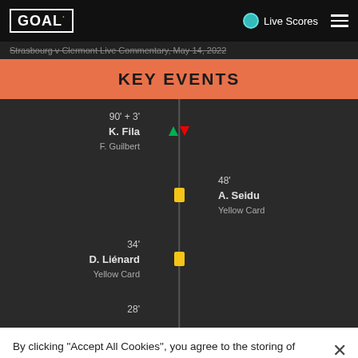GOAL Live Scores
Strasbourg v Clermont Live Commentary, May 14, 2022
KEY EVENTS
90' + 3' K. Fila / F. Guilbert — substitution
48' A. Seidu — Yellow Card
34' D. Liénard — Yellow Card
28'
By clicking "Accept All Cookies", you agree to the storing of cookies on your device to enhance site navigation, analyze site usage, and assist in our marketing efforts.